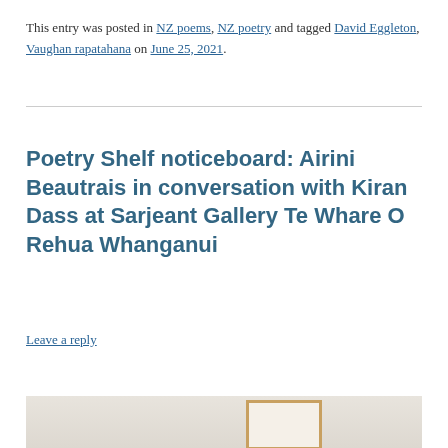This entry was posted in NZ poems, NZ poetry and tagged David Eggleton, Vaughan rapatahana on June 25, 2021.
Poetry Shelf noticeboard: Airini Beautrais in conversation with Kiran Dass at Sarjeant Gallery Te Whare O Rehua Whanganui
Leave a reply
[Figure (photo): Bottom portion of a photograph, partially visible, showing a framed artwork or notice on a light background.]